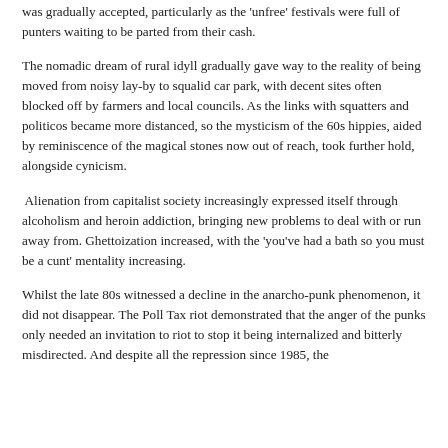was gradually accepted, particularly as the 'unfree' festivals were full of punters waiting to be parted from their cash.
The nomadic dream of rural idyll gradually gave way to the reality of being moved from noisy lay-by to squalid car park, with decent sites often blocked off by farmers and local councils. As the links with squatters and politicos became more distanced, so the mysticism of the 60s hippies, aided by reminiscence of the magical stones now out of reach, took further hold, alongside cynicism.
Alienation from capitalist society increasingly expressed itself through alcoholism and heroin addiction, bringing new problems to deal with or run away from. Ghettoization increased, with the 'you've had a bath so you must be a cunt' mentality increasing.
Whilst the late 80s witnessed a decline in the anarcho-punk phenomenon, it did not disappear. The Poll Tax riot demonstrated that the anger of the punks only needed an invitation to riot to stop it being internalized and bitterly misdirected. And despite all the repression since 1985, the